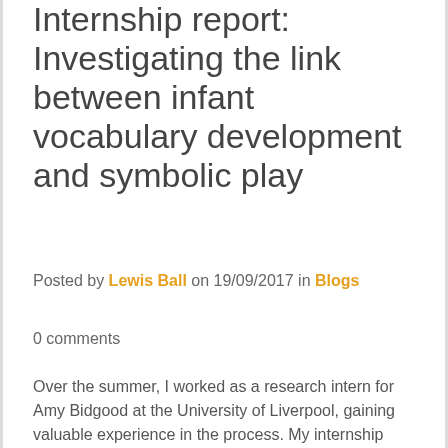Internship report: Investigating the link between infant vocabulary development and symbolic play
Posted by Lewis Ball on 19/09/2017 in Blogs
0 comments
Over the summer, I worked as a research intern for Amy Bidgood at the University of Liverpool, gaining valuable experience in the process. My internship focused on an ongoing project investigating the...